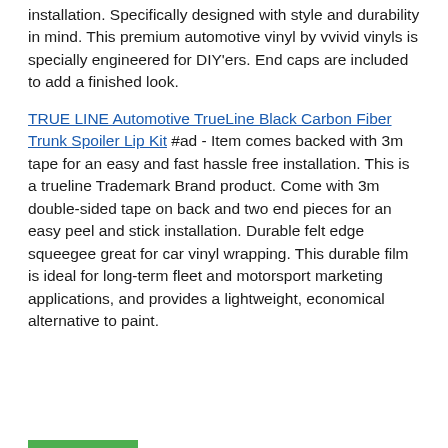installation. Specifically designed with style and durability in mind. This premium automotive vinyl by vvivid vinyls is specially engineered for DIY'ers. End caps are included to add a finished look.
TRUE LINE Automotive TrueLine Black Carbon Fiber Trunk Spoiler Lip Kit #ad - Item comes backed with 3m tape for an easy and fast hassle free installation. This is a trueline Trademark Brand product. Come with 3m double-sided tape on back and two end pieces for an easy peel and stick installation. Durable felt edge squeegee great for car vinyl wrapping. This durable film is ideal for long-term fleet and motorsport marketing applications, and provides a lightweight, economical alternative to paint.